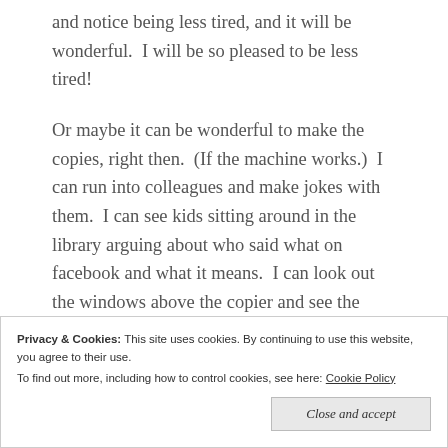and notice being less tired, and it will be wonderful. I will be so pleased to be less tired!
Or maybe it can be wonderful to make the copies, right then. (If the machine works.) I can run into colleagues and make jokes with them. I can see kids sitting around in the library arguing about who said what on facebook and what it means. I can look out the windows above the copier and see the garden and the kids picking vegetables, or I can sneak out the US Weekly from behind the librarian's desk and look at photos of famous people in beautiful clothes...
Privacy & Cookies: This site uses cookies. By continuing to use this website, you agree to their use.
To find out more, including how to control cookies, see here: Cookie Policy